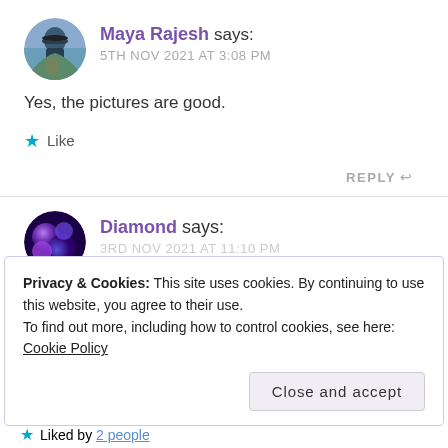[Figure (photo): Circular avatar of Maya Rajesh showing a person outdoors with mountains in background]
Maya Rajesh says:
5TH NOV 2021 AT 3:08 PM
Yes, the pictures are good.
★ Like
REPLY ↩
[Figure (photo): Circular avatar of Diamond showing a purple/blue abstract profile image]
Diamond says:
3RD NOV 2021 AT 11:10 PM
Privacy & Cookies: This site uses cookies. By continuing to use this website, you agree to their use.
To find out more, including how to control cookies, see here: Cookie Policy
Close and accept
★ Liked by 2 people